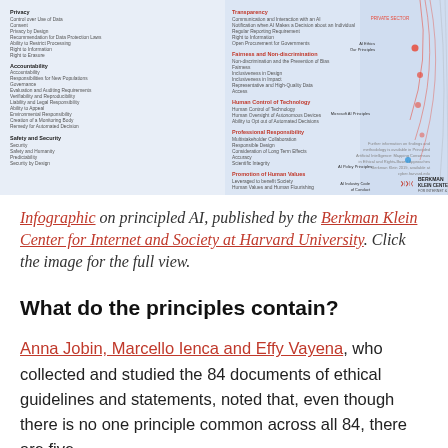[Figure (infographic): Infographic on principled AI published by the Berkman Klein Center for Internet and Society at Harvard University. Shows a categorized list of AI ethics principles on the left (Privacy, Accountability, Safety and Security, etc.), a middle column with subcategories and a Berkman Klein Center logo, and a right portion with circular arc diagrams and data points.]
Infographic on principled AI, published by the Berkman Klein Center for Internet and Society at Harvard University. Click the image for the full view.
What do the principles contain?
Anna Jobin, Marcello Ienca and Effy Vayena, who collected and studied the 84 documents of ethical guidelines and statements, noted that, even though there is no one principle common across all 84, there are five